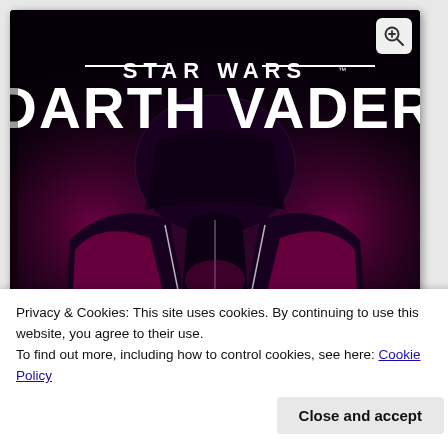[Figure (illustration): Star Wars: Darth Vader comic book cover showing Darth Vader's helmet and armor in dark tones with pink/magenta glowing accents, a small figure (likely Luke Skywalker) visible at the bottom center. Title text 'STAR WARS' in smaller uppercase letters and 'DARTH VADER' in large display font across the top.]
Privacy & Cookies: This site uses cookies. By continuing to use this website, you agree to their use.
To find out more, including how to control cookies, see here: Cookie Policy
Close and accept